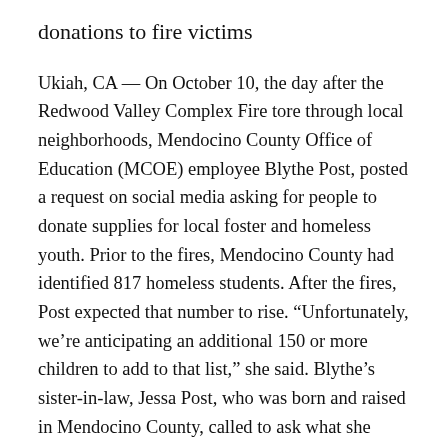donations to fire victims
Ukiah, CA — On October 10, the day after the Redwood Valley Complex Fire tore through local neighborhoods, Mendocino County Office of Education (MCOE) employee Blythe Post, posted a request on social media asking for people to donate supplies for local foster and homeless youth. Prior to the fires, Mendocino County had identified 817 homeless students. After the fires, Post expected that number to rise. “Unfortunately, we’re anticipating an additional 150 or more children to add to that list,” she said. Blythe’s sister-in-law, Jessa Post, who was born and raised in Mendocino County, called to ask what she could do to support the community. Jessa’s daughter attends The San Francisco School in San Francisco, CA, and upon hearing the request for supplies, the school immediately held a 48-hour collection drive. Parents and community members filled a U-Haul with books, art kits, backpacks, lunch